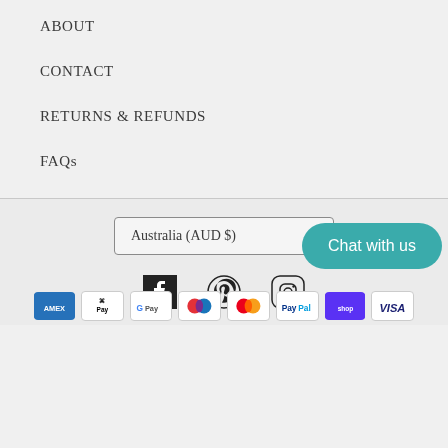ABOUT
CONTACT
RETURNS & REFUNDS
FAQs
Australia (AUD $)
[Figure (other): Social media icons: Facebook, Pinterest, Instagram]
Chat with us
[Figure (other): Payment method icons: American Express, Apple Pay, Google Pay, Maestro, Mastercard, PayPal, Shop Pay, Visa]